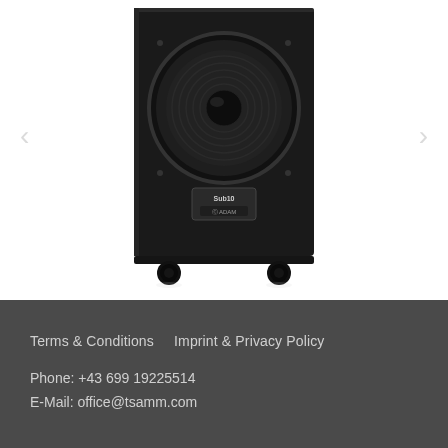[Figure (photo): Black ADAM Audio Sub10 subwoofer speaker on white background with navigation arrows on left and right sides. The speaker is a rectangular black cabinet with a large circular woofer on front and rubber feet at the bottom. A label plate reads 'Sub10 ADAM' on the front.]
Terms & Conditions    Imprint & Privacy Policy
Phone: +43 699 19225514
E-Mail: office@tsamm.com